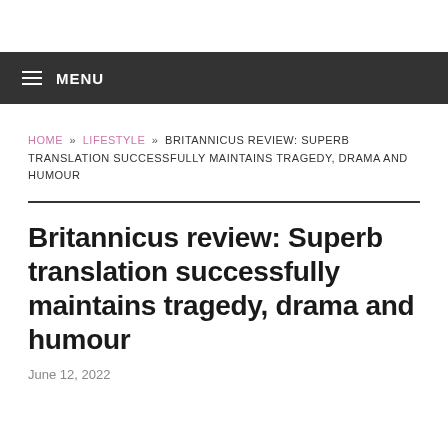≡ MENU
HOME » LIFESTYLE » BRITANNICUS REVIEW: SUPERB TRANSLATION SUCCESSFULLY MAINTAINS TRAGEDY, DRAMA AND HUMOUR
Britannicus review: Superb translation successfully maintains tragedy, drama and humour
June 12, 2022